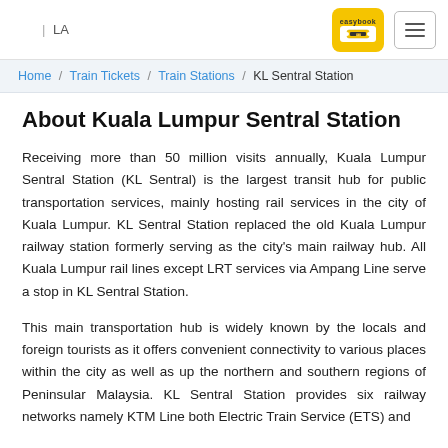| LA [easybook logo] [hamburger menu]
Home / Train Tickets / Train Stations / KL Sentral Station
About Kuala Lumpur Sentral Station
Receiving more than 50 million visits annually, Kuala Lumpur Sentral Station (KL Sentral) is the largest transit hub for public transportation services, mainly hosting rail services in the city of Kuala Lumpur. KL Sentral Station replaced the old Kuala Lumpur railway station formerly serving as the city's main railway hub. All Kuala Lumpur rail lines except LRT services via Ampang Line serve a stop in KL Sentral Station.
This main transportation hub is widely known by the locals and foreign tourists as it offers convenient connectivity to various places within the city as well as up the northern and southern regions of Peninsular Malaysia. KL Sentral Station provides six railway networks namely KTM Line both Electric Train Service (ETS) and